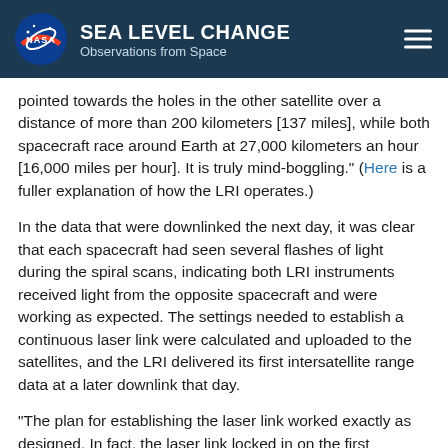SEA LEVEL CHANGE Observations from Space
pointed towards the holes in the other satellite over a distance of more than 200 kilometers [137 miles], while both spacecraft race around Earth at 27,000 kilometers an hour [16,000 miles per hour]. It is truly mind-boggling." (Here is a fuller explanation of how the LRI operates.)
In the data that were downlinked the next day, it was clear that each spacecraft had seen several flashes of light during the spiral scans, indicating both LRI instruments received light from the opposite spacecraft and were working as expected. The settings needed to establish a continuous laser link were calculated and uploaded to the satellites, and the LRI delivered its first intersatellite range data at a later downlink that day.
"The plan for establishing the laser link worked exactly as designed. In fact, the laser link locked in on the first attempt," said Christopher Woodruff, the LRI mission